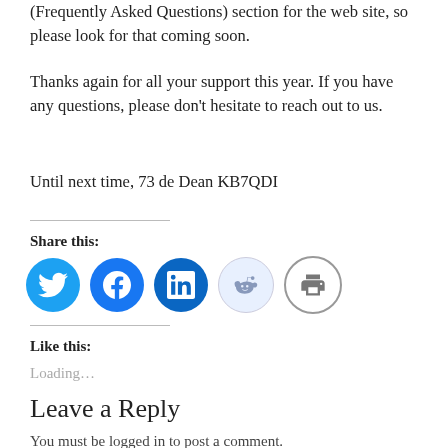(Frequently Asked Questions) section for the web site, so please look for that coming soon.
Thanks again for all your support this year.  If you have any questions, please don't hesitate to reach out to us.
Until next time, 73 de Dean KB7QDI
Share this:
[Figure (infographic): Row of five circular social share icons: Twitter (blue), Facebook (blue), LinkedIn (dark blue), Reddit (light blue/white), Print (white with grey border)]
Like this:
Loading...
Leave a Reply
You must be logged in to post a comment.